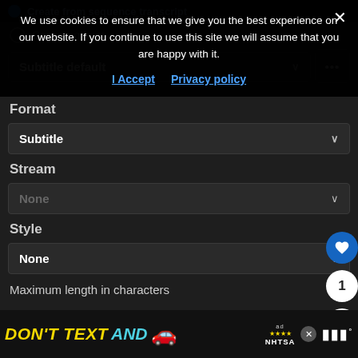[Figure (screenshot): Screenshot of a dark-themed web application UI showing cookie consent overlay, subtitle/format settings panel with dropdowns for 'Subtitle default', 'Subtitle', 'None' (Stream), 'None' (Style), and a maximum length in characters field showing 42. Floating action buttons on the right side. Bottom ad banner reading 'DON'T TEXT AND' with a car emoji and NHTSA logo.]
We use cookies to ensure that we give you the best experience on our website. If you continue to use this site we will assume that you are happy with it.
I Accept   Privacy policy
Caption preset
Subtitle default
Format
Subtitle
Stream
None
Style
None
Maximum length in characters
42
DON'T TEXT AND